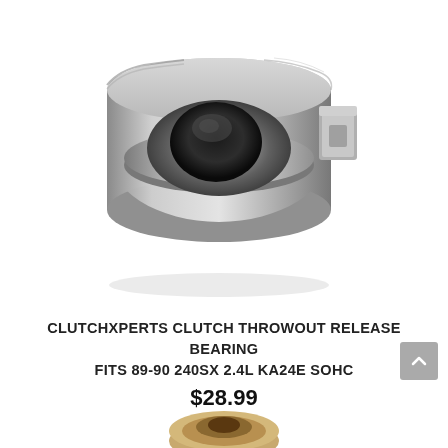[Figure (photo): A clutch throwout release bearing — a circular metal bearing with a dark center hole, silver/chrome outer ring, and a metal mounting tab on the right side, photographed on a white background.]
CLUTCHXPERTS CLUTCH THROWOUT RELEASE BEARING FITS 89-90 240SX 2.4L KA24E SOHC
$28.99
[Figure (photo): Partial view of a second product (another bearing) visible at the very bottom of the page, partially cropped.]